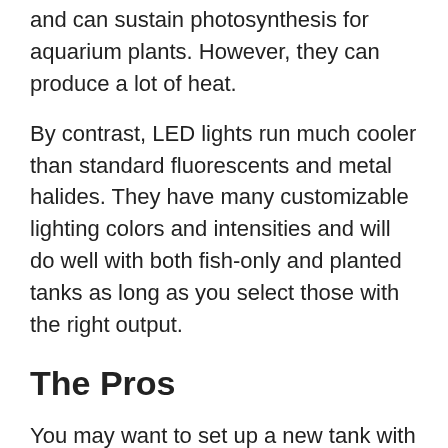and can sustain photosynthesis for aquarium plants. However, they can produce a lot of heat.
By contrast, LED lights run much cooler than standard fluorescents and metal halides. They have many customizable lighting colors and intensities and will do well with both fish-only and planted tanks as long as you select those with the right output.
The Pros
You may want to set up a new tank with LED lights or replace the lighting system on your existing tank to take advantage of the benefits from this type of lighting. These include:
Low energy consumption: They take less energy to run—quite a bit less. LED aquarium lighting